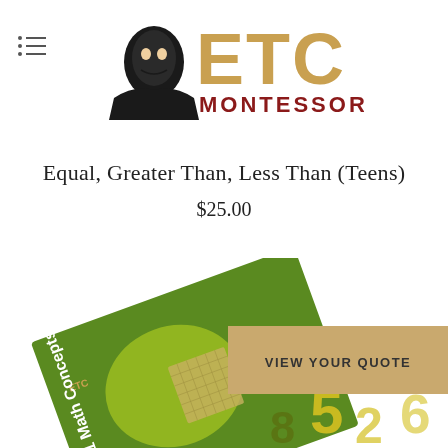[Figure (logo): ETC Montessori logo with stylized portrait of Montessori and 'ETC' in gold and 'MONTESSORI' in dark red below]
Equal, Greater Than, Less Than (Teens)
$25.00
[Figure (photo): Product image showing ETC Montessori K-1 Math Concepts booklet on a green background with yellow 3D numbers, alongside a VIEW YOUR QUOTE tan/gold banner overlay on the right]